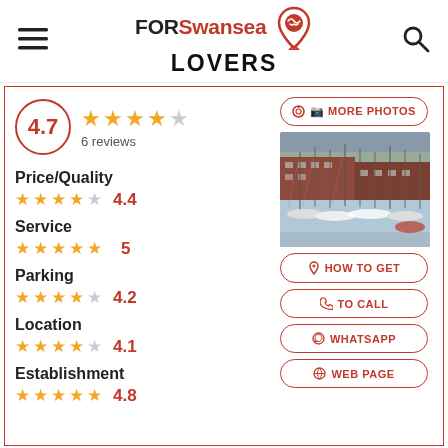FORSwansea LOVERS
4.7 — 6 reviews
Price/Quality 4.4
Service 5
Parking 4.2
Location 4.1
Establishment 4.8
[Figure (photo): Marina with many sailboats and yachts docked, with brick buildings in the background]
MORE PHOTOS
HOW TO GET
TO CALL
WHATSAPP
WEB PAGE